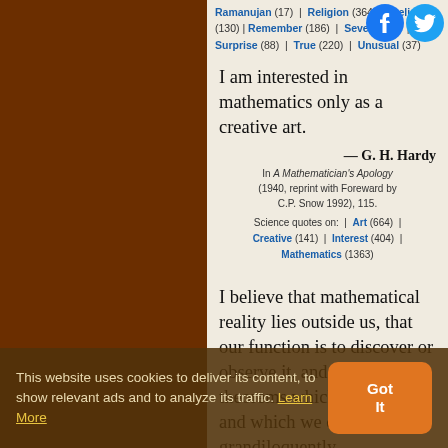Ramanujan (17) | Religion (364) | Religious (130) | Remember (186) | Severity (6) | Surprise (88) | True (220) | Unusual (37)
I am interested in mathematics only as a creative art.
— G. H. Hardy
In A Mathematician's Apology (1940, reprint with Foreward by C.P. Snow 1992), 115. Science quotes on: | Art (664) | Creative (141) | Interest (404) | Mathematics (1363)
I believe that mathematical reality lies outside us, that our function is to discover or observe it, and that the theorems which we prove, and which we describe grandiloquently
This website uses cookies to deliver its content, to show relevant ads and to analyze its traffic. Learn More